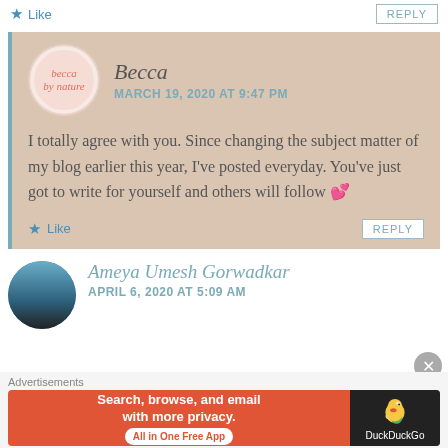Like   REPLY
Becca
MARCH 19, 2020 AT 9:47 PM
I totally agree with you. Since changing the subject matter of my blog earlier this year, I’ve posted everyday. You’ve just got to write for yourself and others will follow 💕
Like   REPLY
Ameya Umesh Gorwadkar
APRIL 6, 2020 AT 5:09 AM
[Figure (infographic): DuckDuckGo advertisement banner: orange background with text 'Search, browse, and email with more privacy. All in One Free App' and DuckDuckGo logo on dark background]